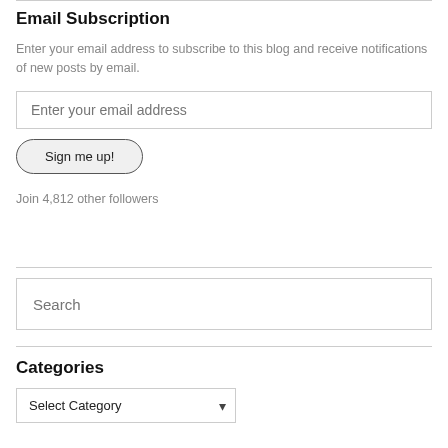Email Subscription
Enter your email address to subscribe to this blog and receive notifications of new posts by email.
Enter your email address
Sign me up!
Join 4,812 other followers
Search
Categories
Select Category